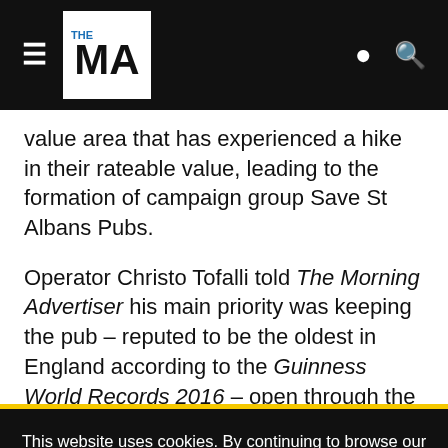THE MA (navigation bar with logo, hamburger menu, user and search icons)
value area that has experienced a hike in their rateable value, leading to the formation of campaign group Save St Albans Pubs.
Operator Christo Tofalli told The Morning Advertiser his main priority was keeping the pub – reputed to be the oldest in England according to the Guinness World Records 2016 – open through the difficult winter trading
This website uses cookies. By continuing to browse our website, you are agreeing to our use of cookies. You can learn more about cookies by visiting our privacy & cookies policy page.